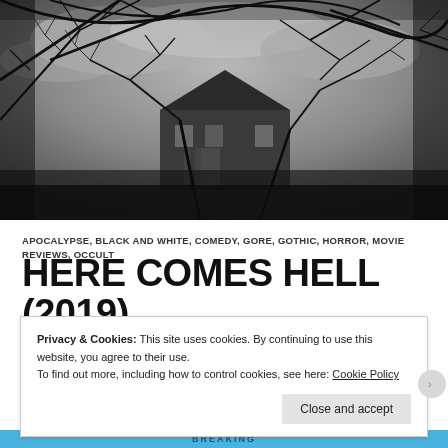[Figure (photo): Black and white photograph of bare tree branches in the foreground with a dark, gothic-style mansion or large house visible in the background against a cloudy sky.]
APOCALYPSE, BLACK AND WHITE, COMEDY, GORE, GOTHIC, HORROR, MOVIE REVIEWS, OCCULT
HERE COMES HELL (2019)
Privacy & Cookies: This site uses cookies. By continuing to use this website, you agree to their use.
To find out more, including how to control cookies, see here: Cookie Policy
Close and accept